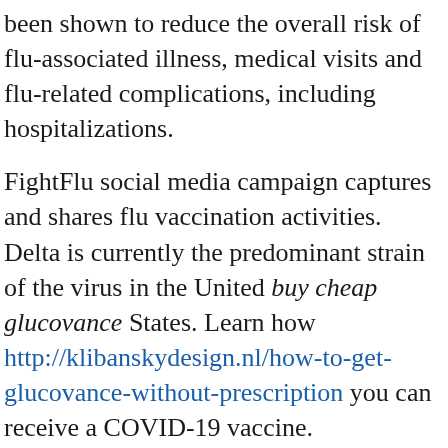been shown to reduce the overall risk of flu-associated illness, medical visits and flu-related complications, including hospitalizations.
FightFlu social media campaign captures and shares flu vaccination activities. Delta is currently the predominant strain of the virus in the United buy cheap glucovance States. Learn how http://klibanskydesign.nl/how-to-get-glucovance-without-prescription you can receive a COVID-19 vaccine.
We hope that these resources help in your efforts to share flu prevention and vaccination message, or assist buy cheap glucovance you in developing your own. The Influenza vaccine has been shown to reduce the overall